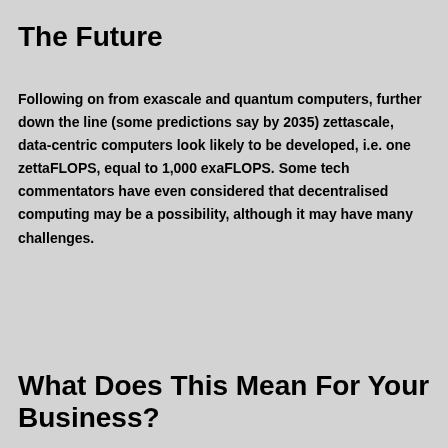The Future
Following on from exascale and quantum computers, further down the line (some predictions say by 2035) zettascale, data-centric computers look likely to be developed, i.e. one zettaFLOPS, equal to 1,000 exaFLOPS. Some tech commentators have even considered that decentralised computing may be a possibility, although it may have many challenges.
What Does This Mean For Your Business?